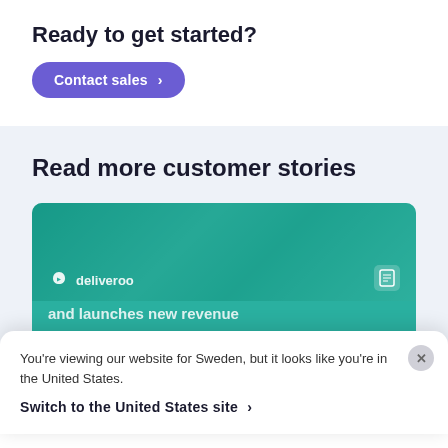Ready to get started?
Contact sales >
Read more customer stories
[Figure (screenshot): Deliveroo customer story card with teal background image showing hands holding a phone, Deliveroo logo, and partial text 'and launches new revenue']
You're viewing our website for Sweden, but it looks like you're in the United States.
Switch to the United States site >